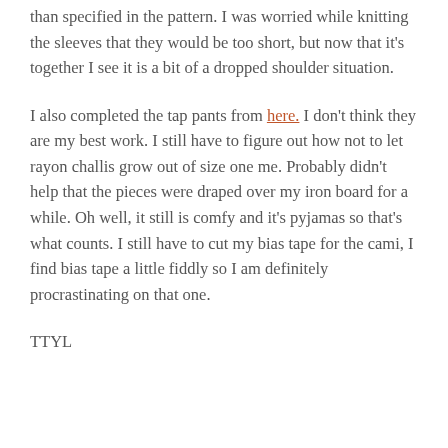than specified in the pattern. I was worried while knitting the sleeves that they would be too short, but now that it's together I see it is a bit of a dropped shoulder situation.
I also completed the tap pants from here. I don't think they are my best work. I still have to figure out how not to let rayon challis grow out of size one me. Probably didn't help that the pieces were draped over my iron board for a while. Oh well, it still is comfy and it's pyjamas so that's what counts. I still have to cut my bias tape for the cami, I find bias tape a little fiddly so I am definitely procrastinating on that one.
TTYL